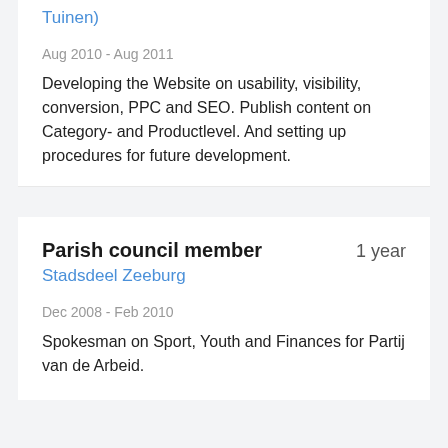Tuinen)
Aug 2010 - Aug 2011
Developing the Website on usability, visibility, conversion, PPC and SEO. Publish content on Category- and Productlevel. And setting up procedures for future development.
Parish council member
1 year
Stadsdeel Zeeburg
Dec 2008 - Feb 2010
Spokesman on Sport, Youth and Finances for Partij van de Arbeid.